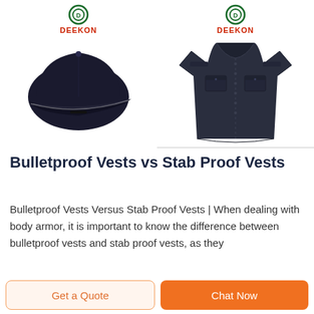[Figure (photo): DEEKON branded baseball cap in dark navy color, shown on white background with DEEKON logo (green circle with D and red DEEKON text) above it]
[Figure (photo): DEEKON branded short-sleeve dark navy military/police shirt with chest pockets and epaulettes, shown on white background with DEEKON logo above it]
Bulletproof Vests vs Stab Proof Vests
Bulletproof Vests Versus Stab Proof Vests | When dealing with body armor, it is important to know the difference between bulletproof vests and stab proof vests, as they
Get a Quote
Chat Now